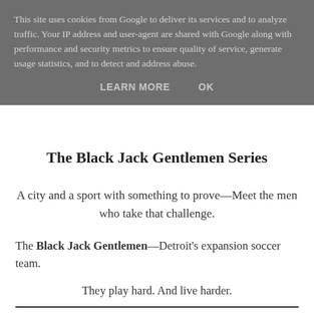This site uses cookies from Google to deliver its services and to analyze traffic. Your IP address and user-agent are shared with Google along with performance and security metrics to ensure quality of service, generate usage statistics, and to detect and address abuse.
LEARN MORE   OK
The Black Jack Gentlemen Series
A city and a sport with something to prove—Meet the men who take that challenge.
The Black Jack Gentlemen—Detroit's expansion soccer team.
They play hard. And live harder.
The newest series by Liz Crowe